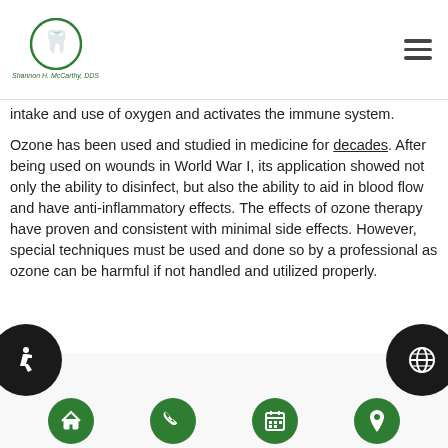Shannon H. McCarthy, DDS
intake and use of oxygen and activates the immune system.
Ozone has been used and studied in medicine for decades. After being used on wounds in World War I, its application showed not only the ability to disinfect, but also the ability to aid in blood flow and have anti-inflammatory effects. The effects of ozone therapy have proven and consistent with minimal side effects. However, special techniques must be used and done so by a professional as ozone can be harmful if not handled and utilized properly.
Navigation icons: home, phone, calendar, location